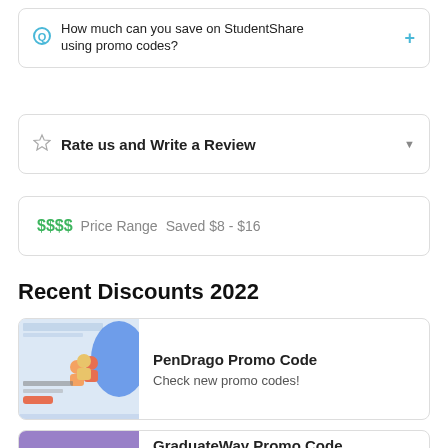How much can you save on StudentShare using promo codes?
Rate us and Write a Review
$$$$  Price Range  Saved $8 - $16
Recent Discounts 2022
PenDrago Promo Code
Check new promo codes!
GraduateWay Promo Code